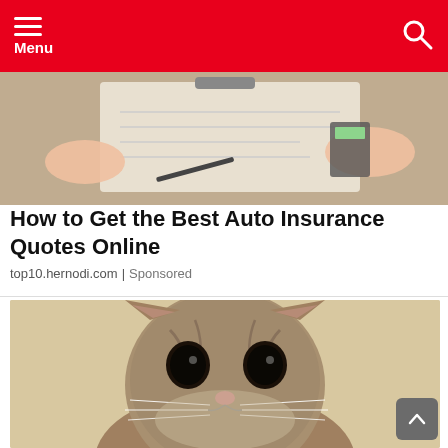Menu
[Figure (photo): Hands filling out insurance paperwork on a clipboard, with a calculator and laptop visible on a desk]
How to Get the Best Auto Insurance Quotes Online
top10.hernodi.com | Sponsored
[Figure (photo): Close-up of a sad-looking tabby cat with large round eyes staring at the camera, lying on a light-colored surface]